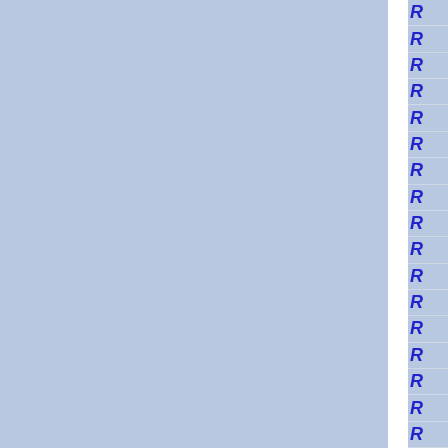[Figure (other): Page showing two blue-gray panels separated by a white vertical divider, with a right sidebar containing a column of blue italic R letters separated by horizontal lines.]